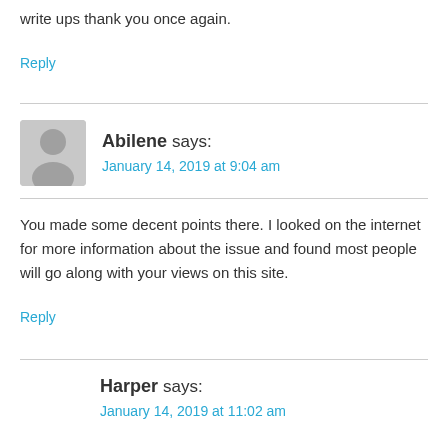write ups thank you once again.
Reply
Abilene says:
January 14, 2019 at 9:04 am
You made some decent points there. I looked on the internet
for more information about the issue and found most people will go along with your views on this site.
Reply
Harper says:
January 14, 2019 at 11:02 am